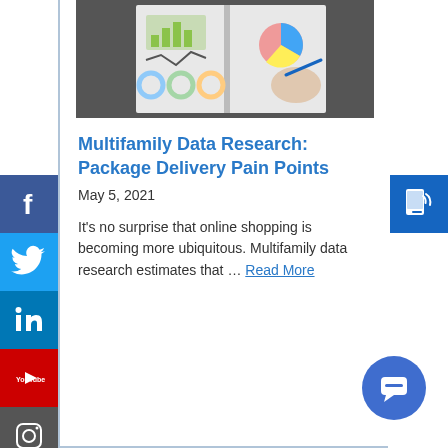[Figure (photo): Photo of a person writing in a spiral notebook showing charts and graphs]
Multifamily Data Research: Package Delivery Pain Points
May 5, 2021
It’s no surprise that online shopping is becoming more ubiquitous. Multifamily data research estimates that … Read More